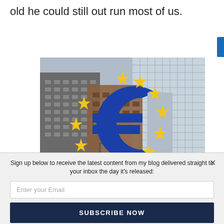old he could still out run most of us.
[Figure (photo): Photograph of the Euro sign sculpture (large blue euro symbol with yellow stars) in front of tall city skyscrapers, European Central Bank building in background.]
Sign up below to receive the latest content from my blog delivered straight to your inbox the day it's released:
Enter your Email
SUBSCRIBE NOW